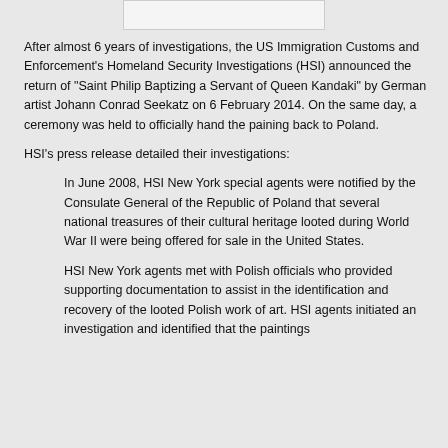After almost 6 years of investigations, the US Immigration Customs and Enforcement's Homeland Security Investigations (HSI) announced the return of "Saint Philip Baptizing a Servant of Queen Kandaki" by German artist Johann Conrad Seekatz on 6 February 2014. On the same day, a ceremony was held to officially hand the paining back to Poland.
HSI's press release detailed their investigations:
In June 2008, HSI New York special agents were notified by the Consulate General of the Republic of Poland that several national treasures of their cultural heritage looted during World War II were being offered for sale in the United States.
HSI New York agents met with Polish officials who provided supporting documentation to assist in the identification and recovery of the looted Polish work of art. HSI agents initiated an investigation and identified that the paintings...